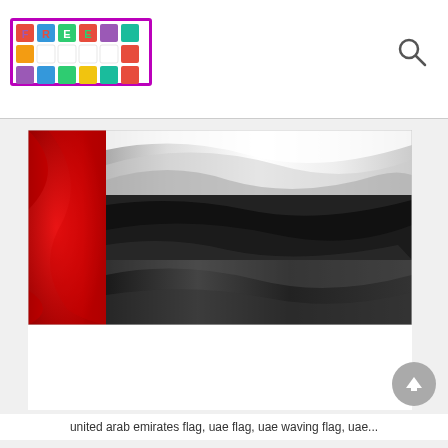FREE logo with colorful grid and search icon
[Figure (photo): UAE waving flag image showing red vertical stripe on left, and three horizontal stripes (white, black, grey/dark) on the right, with wave/fabric effect]
united arab emirates flag, uae flag, uae waving flag, uae...